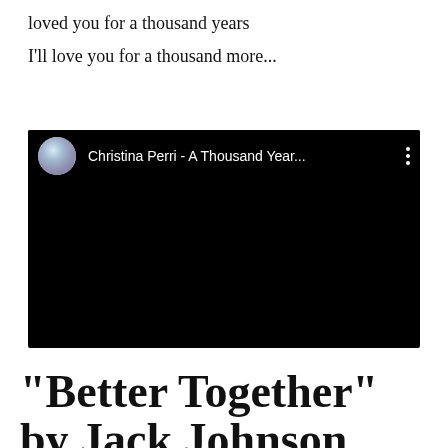loved you for a thousand years
I'll love you for a thousand more...
[Figure (screenshot): Embedded YouTube video player showing Christina Perri - A Thousand Year... with a circular avatar thumbnail on the left and three-dot menu on the right, all on a black background.]
“Better Together” by Jack Johnson